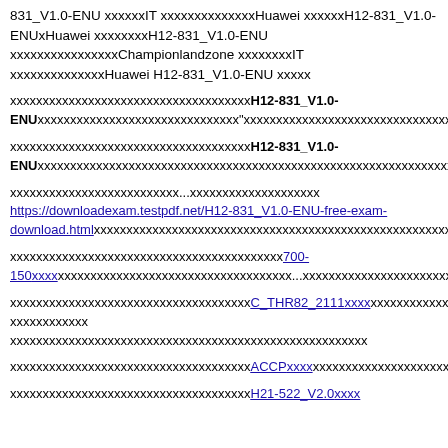831_V1.0-ENU xxxxxxIT xxxxxxxxxxxxxxHuawei xxxxxxH12-831_V1.0-ENUxHuawei xxxxxxxxH12-831_V1.0-ENU xxxxxxxxxxxxxxxxChampionlandzone xxxxxxxxITxxxxxxxxxxxxxxHuawei H12-831_V1.0-ENU xxxxx
xxxxxxxxxxxxxxxxxxxxxxxxxxxxxxxxxxxH12-831_V1.0-ENU xxxxxxxxxxxxxxxxxxxxxxxx"xxxxxxxxxxxxxxxxxxxxxxxxxxxxxxxxxxxxxxxxxxxxxxxx
xxxxxxxxxxxxxxxxxxxxxxxxxxxxxxxxxxxH12-831_V1.0-ENU xxxxxxxxxxxxxxxxxxxxxxxxxxxxxxxxxxxxxxxxxxxxxxxxxxxxxxxxxxxxxxxxxxxxxxxxxxxxxxx
xxxxxxxxxxxxxxxxxxxxxxxxxx...xxxxxxxxxxxxxxxxxxxx https://downloadexam.testpdf.net/H12-831_V1.0-ENU-free-exam-download.html xxxxxxxxxxxxxxxxxxxxxxxxxxxxxxxxxxxxxxxxxxxxxxxxxxxxxxxxxxxxxxxxx
xxxxxxxxxxxxxxxxxxxxxxxxxxxxxxxxxxxxxxxxx700-150xxxx xxxxxxxxxxxxxxxxxxxxxxxxxxxxxxxx...xxxxxxxxxxxxxxxxxxxxxxxxxxxxxxxxxxxxxxxxxxxx
xxxxxxxxxxxxxxxxxxxxxxxxxxxxxxxxxxxC_THR82_2111xxxx xxxxxxxxxxxxxxxxxxxxxxxxx xxxxxxxxxxxxxxxxxxxxxxxxxxxxxxxxxxxxxxxxxx
xxxxxxxxxxxxxxxxxxxxxxxxxxxxxxxxxxxACCP xxxx xxxxxxxxxxxxxxxxxxxxxxxxxxxxxxxxxxxxxxxxxxxxxxxxxxxxxxxxxxxxxxxxxxxx
xxxxxxxxxxxxxxxxxxxxxxxxxxxxxxxxxxxH21-522_V2.0xxxx